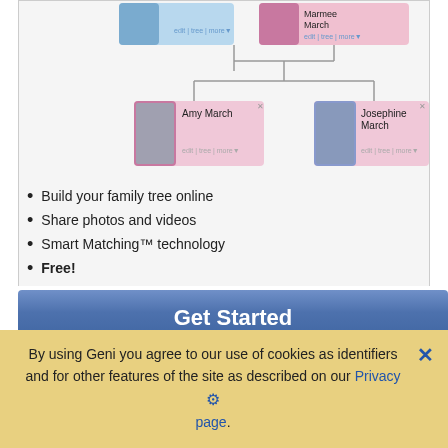[Figure (organizational-chart): Family tree diagram showing Marmee March at top right connected to Amy March and Josephine March below, with person cards showing photos.]
Build your family tree online
Share photos and videos
Smart Matching™ technology
Free!
Get Started
20+ Francis Discussions
5,000+ Francis Profiles
1,846 Francis Documents
By using Geni you agree to our use of cookies as identifiers and for other features of the site as described on our Privacy page.